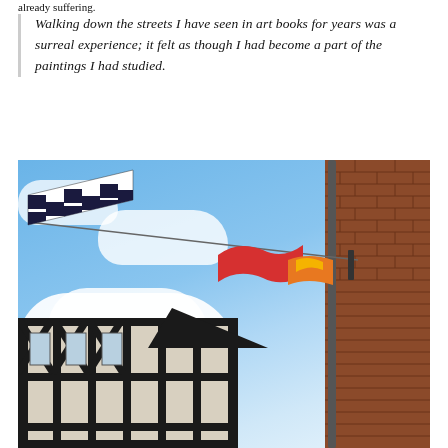Walking down the streets I have seen in art books for years was a surreal experience; it felt as though I had become a part of the paintings I had studied.
[Figure (photo): Looking up at colorful flags hanging on a wire between buildings on a street — a blue and white checkered flag on the left, a red flag in the middle, and an orange and yellow flag on the right. Behind is a blue sky with white clouds. On the right side is a tall red brick building, and in the lower portion is a half-timbered black and white building.]